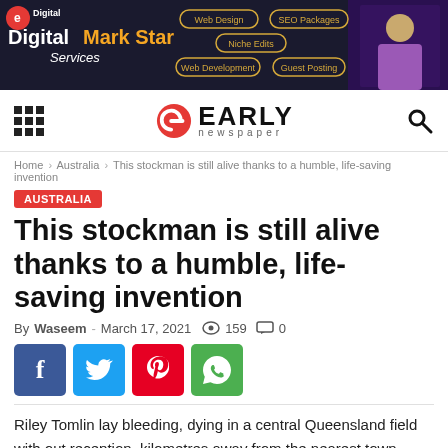[Figure (screenshot): Digital Mark Star Services banner advertisement with dark blue background, logo, service pills (Web Design, SEO Packages, Niche Edits, Web Development, Guest Posting), and man in suit on right.]
EARLY newspaper
Home › Australia › This stockman is still alive thanks to a humble, life-saving invention
AUSTRALIA
This stockman is still alive thanks to a humble, life-saving invention
By Waseem - March 17, 2021 · 159 · 0
[Figure (infographic): Social share buttons: Facebook (blue), Twitter (cyan), Pinterest (red), WhatsApp (green)]
Riley Tomlin lay bleeding, dying in a central Queensland field with out reception, kilometres away from the nearest town.